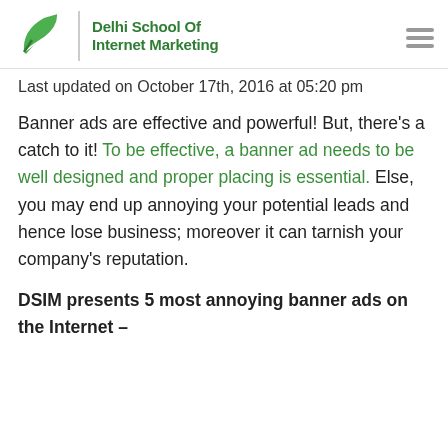[Figure (logo): Delhi School of Internet Marketing logo with green leaf icon and bold green text]
Last updated on October 17th, 2016 at 05:20 pm
Banner ads are effective and powerful! But, there's a catch to it! To be effective, a banner ad needs to be well designed and proper placing is essential. Else, you may end up annoying your potential leads and hence lose business; moreover it can tarnish your company's reputation.
DSIM presents 5 most annoying banner ads on the Internet –